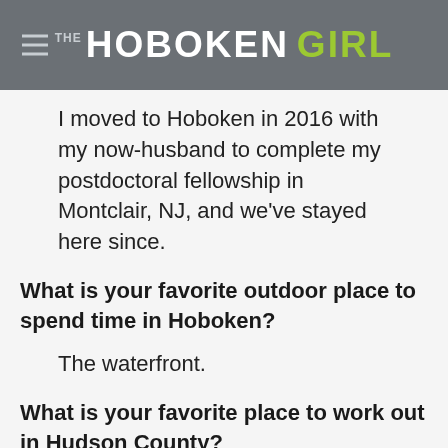THE HOBOKEN GIRL
I moved to Hoboken in 2016 with my now-husband to complete my postdoctoral fellowship in Montclair, NJ, and we've stayed here since.
What is your favorite outdoor place to spend time in Hoboken?
The waterfront.
What is your favorite place to work out in Hudson County?
I've been going to Surya Yoga Academy since I moved here in 2016.